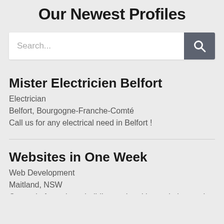Our Newest Profiles
[Figure (screenshot): Search bar with text input placeholder 'Search...' and a dark gray search button with magnifying glass icon]
Mister Electricien Belfort
Electrician
Belfort, Bourgogne-Franche-Comté
Call us for any electrical need in Belfort !
Websites in One Week
Web Development
Maitland, NSW
Our main focus is on building and ranking websites and Google My Business (GMB)